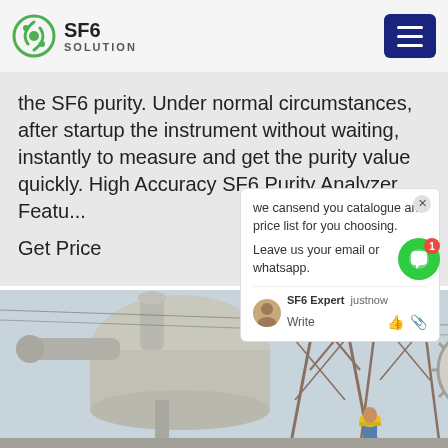SF6 SOLUTION
the SF6 purity. Under normal circumstances, after startup the instrument without waiting, instantly to measure and get the purity value quickly. High Accuracy SF6 Purity Analyzer Featu...
Get Price
we cansend you catalogue and price list for you choosing.
Leave us your email or whatsapp.
SF6 Expert   justnow
Write
[Figure (photo): Industrial SF6 electrical equipment at a substation with a worker wearing a yellow hard hat inspecting large cylindrical gas-insulated switchgear components against a bright sky with metal lattice structures in the background.]